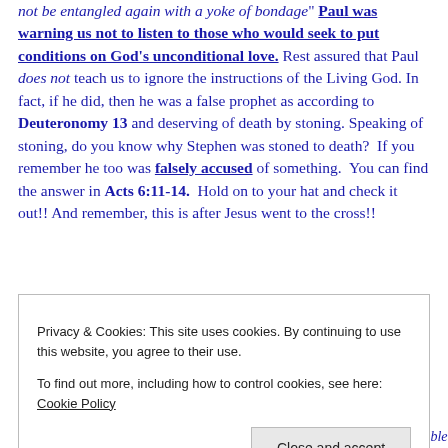not be entangled again with a yoke of bondage" Paul was warning us not to listen to those who would seek to put conditions on God's unconditional love. Rest assured that Paul does not teach us to ignore the instructions of the Living God. In fact, if he did, then he was a false prophet as according to Deuteronomy 13 and deserving of death by stoning. Speaking of stoning, do you know why Stephen was stoned to death? If you remember he too was falsely accused of something. You can find the answer in Acts 6:11-14. Hold on to your hat and check it out!! And remember, this is after Jesus went to the cross!!
Privacy & Cookies: This site uses cookies. By continuing to use this website, you agree to their use.
To find out more, including how to control cookies, see here: Cookie Policy
Close and accept
verse in proper context then I would assume it would be perfectly acceptable for